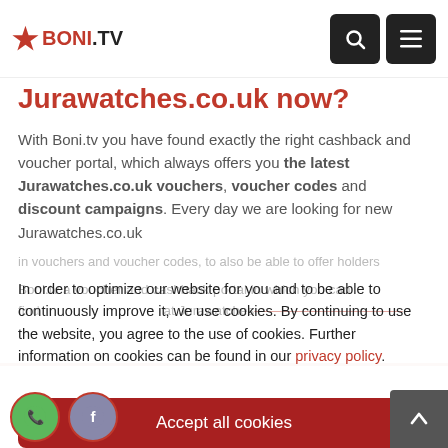BONI.TV
Jurawatches.co.uk now?
With Boni.tv you have found exactly the right cashback and voucher portal, which always offers you the latest Jurawatches.co.uk vouchers, voucher codes and discount campaigns. Every day we are looking for new Jurawatches.co.uk
In order to optimize our website for you and to be able to continuously improve it, we use cookies. By continuing to use the website, you agree to the use of cookies. Further information on cookies can be found in our privacy policy.
Accept all cookies
Cookie settings
Confirm necessary cookies